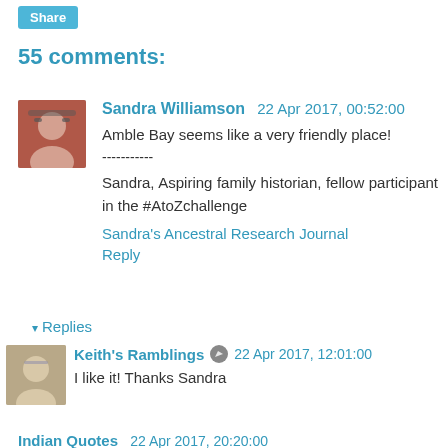Share
55 comments:
Sandra Williamson  22 Apr 2017, 00:52:00
Amble Bay seems like a very friendly place!
-----------
Sandra, Aspiring family historian, fellow participant in the #AtoZchallenge
Sandra's Ancestral Research Journal
Reply
▾ Replies
Keith's Ramblings  22 Apr 2017, 12:01:00
I like it! Thanks Sandra
Indian Quotes  22 Apr 2017, 20:20:00